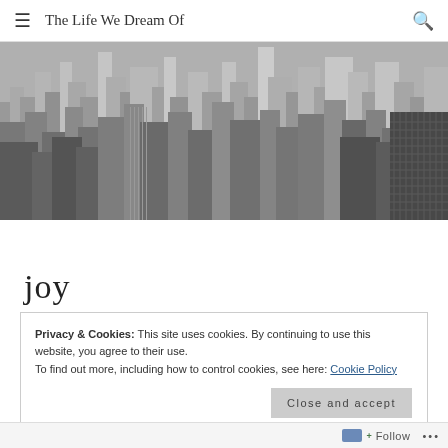The Life We Dream Of
[Figure (photo): Black and white aerial photograph of a dense urban cityscape with many skyscrapers and high-rise buildings, shot from above looking down at an angle.]
joy
Privacy & Cookies: This site uses cookies. By continuing to use this website, you agree to their use.
To find out more, including how to control cookies, see here: Cookie Policy
Close and accept
Follow